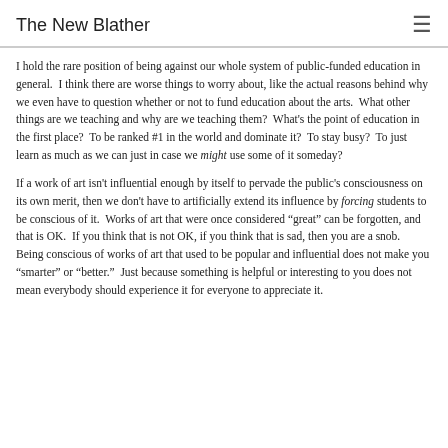The New Blather
I hold the rare position of being against our whole system of public-funded education in general.  I think there are worse things to worry about, like the actual reasons behind why we even have to question whether or not to fund education about the arts.  What other things are we teaching and why are we teaching them?  What's the point of education in the first place?  To be ranked #1 in the world and dominate it?  To stay busy?  To just learn as much as we can just in case we might use some of it someday?
If a work of art isn't influential enough by itself to pervade the public's consciousness on its own merit, then we don't have to artificially extend its influence by forcing students to be conscious of it.  Works of art that were once considered “great” can be forgotten, and that is OK.  If you think that is not OK, if you think that is sad, then you are a snob.  Being conscious of works of art that used to be popular and influential does not make you “smarter” or “better.”  Just because something is helpful or interesting to you does not mean everybody should experience it for everyone to appreciate it.